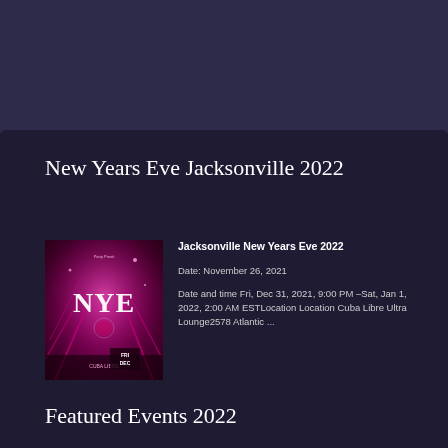New Years Eve Jacksonville 2022
[Figure (photo): NYE party promotional flyer showing colorful nightclub scene with NYE text and Cuba Libre Ultra Lounge details, Fri Dec date visible]
Jacksonville New Years Eve 2022
Date: November 26, 2021
Date and time Fri, Dec 31, 2021, 9:00 PM –Sat, Jan 1, 2022, 2:00 AM ESTLocation Location Cuba Libre Ultra Lounge2578 Atlantic ...
Featured Events 2022